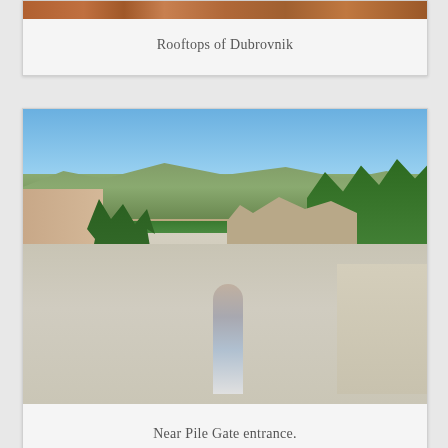[Figure (photo): Aerial view of rooftops of Dubrovnik showing terracotta/orange tiled roofs of historic buildings]
Rooftops of Dubrovnik
[Figure (photo): Street scene near Pile Gate entrance in Dubrovnik showing tourists walking on a wide stone road, with hills, trees, and old city walls in the background. A woman in a grey dress is prominent in the foreground.]
Near Pile Gate entrance.